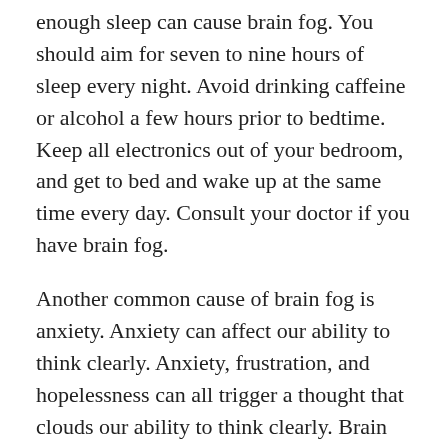enough sleep can cause brain fog. You should aim for seven to nine hours of sleep every night. Avoid drinking caffeine or alcohol a few hours prior to bedtime. Keep all electronics out of your bedroom, and get to bed and wake up at the same time every day. Consult your doctor if you have brain fog.
Another common cause of brain fog is anxiety. Anxiety can affect our ability to think clearly. Anxiety, frustration, and hopelessness can all trigger a thought that clouds our ability to think clearly. Brain fog can also be caused by stress and thyroid issues. These conditions produce high levels of estrogen, which cloud our thinking. Problems with sleep and hormone balance can be caused by stress. People who undergo COVID also have increased risk of brain fog.